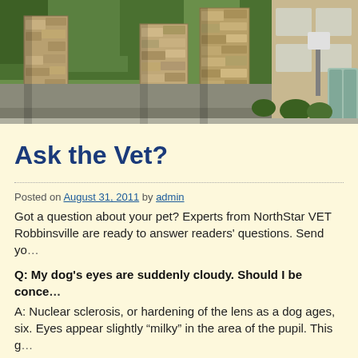[Figure (photo): Exterior photo of NorthStar VETS facility showing stone pillars/columns at entrance, trees, parking area, and building facade]
Ask the Vet?
Posted on August 31, 2011 by admin
Got a question about your pet? Experts from NorthStar VETS Robbinsville are ready to answer readers' questions. Send yo...
Q: My dog's eyes are suddenly cloudy. Should I be conce... A: Nuclear sclerosis, or hardening of the lens as a dog ages, six. Eyes appear slightly “milky” in the area of the pupil. This g...